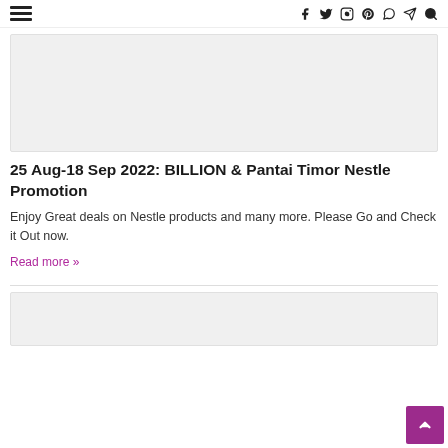Navigation bar with hamburger menu and social icons (f, Twitter, Instagram, Pinterest, WhatsApp, Telegram, Search)
[Figure (other): Gray placeholder banner image]
25 Aug-18 Sep 2022: BILLION & Pantai Timor Nestle Promotion
Enjoy Great deals on Nestle products and many more. Please Go and Check it Out now.
Read more »
[Figure (other): Gray placeholder banner image at bottom]